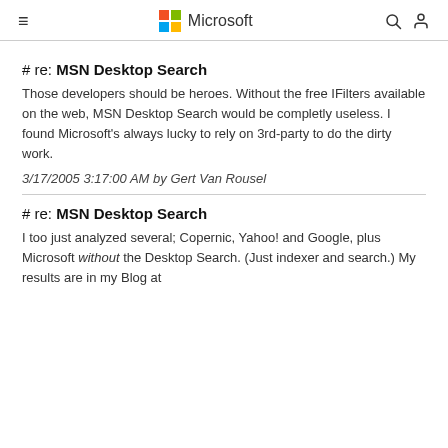Microsoft
# re: MSN Desktop Search
Those developers should be heroes. Without the free IFilters available on the web, MSN Desktop Search would be completly useless. I found Microsoft's always lucky to rely on 3rd-party to do the dirty work.
3/17/2005 3:17:00 AM by Gert Van Rousel
# re: MSN Desktop Search
I too just analyzed several; Copernic, Yahoo! and Google, plus Microsoft without the Desktop Search. (Just indexer and search.) My results are in my Blog at